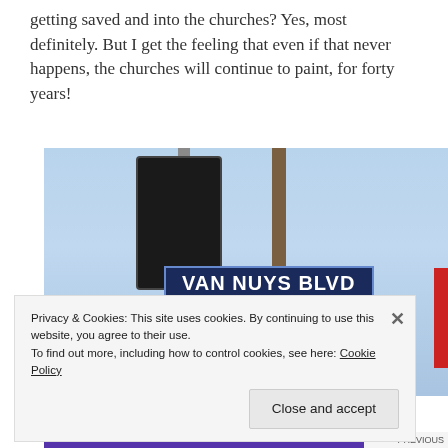getting saved and into the churches? Yes, most definitely. But I get the feeling that even if that never happens, the churches will continue to paint, for forty years!
[Figure (photo): Street photo showing a Van Nuys Blvd 12800 W street sign on a pole with traffic lights, against a blue sky background.]
Privacy & Cookies: This site uses cookies. By continuing to use this website, you agree to their use.
To find out more, including how to control cookies, see here: Cookie Policy
Close and accept